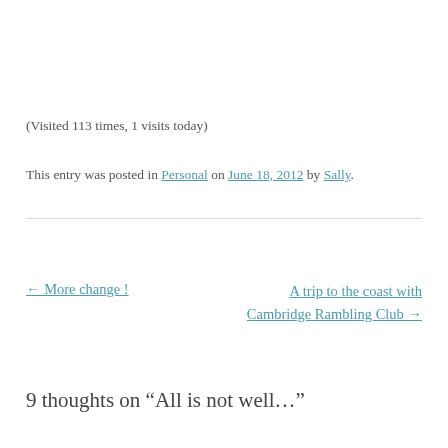(Visited 113 times, 1 visits today)
This entry was posted in Personal on June 18, 2012 by Sally.
← More change !
A trip to the coast with Cambridge Rambling Club →
9 thoughts on “All is not well…”